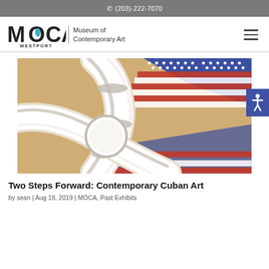(203)-222-7070
[Figure (logo): MOCA Westport – Museum of Contemporary Art logo with hamburger menu icon]
[Figure (photo): Close-up painting of white curved pipes/tubes over an American flag draped on a sandy surface]
Two Steps Forward: Contemporary Cuban Art
by sean | Aug 18, 2019 | MOCA, Past Exhibits